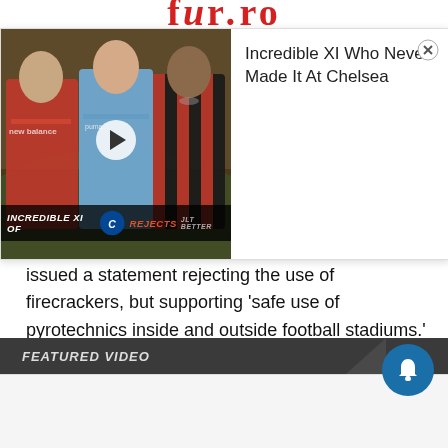[Figure (screenshot): Advertisement overlay showing 'Incredible XI Of Chelsea Rejects' video thumbnail with three footballers in different kits (red, blue/grey, red/black stripes) against a stadium background, with Chelsea badge in the center banner. Ad title reads 'Incredible XI Who Never Made It At Chelsea' with a close button (X) in top right.]
issued a statement rejecting the use of firecrackers, but supporting 'safe use of pyrotechnics inside and outside football stadiums.' Their stance was heavily criticised by other fans.
FEATURED VIDEO
[Figure (screenshot): Featured video player area, mostly blank/white with a notification bell icon button in teal/blue circle on the right side.]